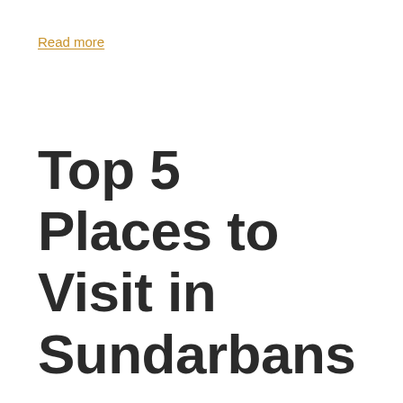Read more
Top 5 Places to Visit in Sundarbans